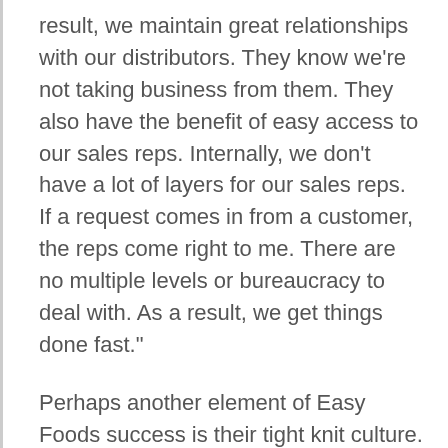result, we maintain great relationships with our distributors. They know we're not taking business from them. They also have the benefit of easy access to our sales reps. Internally, we don't have a lot of layers for our sales reps. If a request comes in from a customer, the reps come right to me. There are no multiple levels or bureaucracy to deal with. As a result, we get things done fast."
Perhaps another element of Easy Foods success is their tight knit culture. They were close when they started the company and, they remain committed to their employees and ensuring everyone is on-board with company objectives.